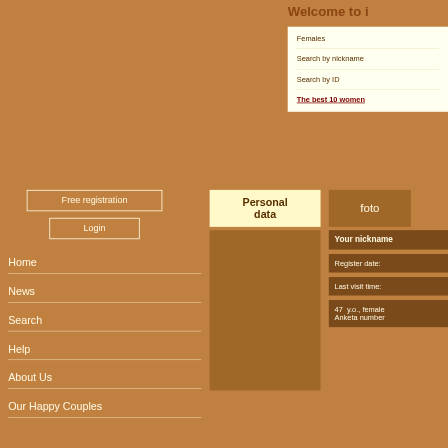Welcome to i
Females
Search by nickname
Search by ID
The best 10 women
Free registration
Login
Home
News
Search
Help
About Us
Our Happy Couples
Personal data
foto
Your nickname
Register date:
Last visit time:
47 y.o., female Anketa number